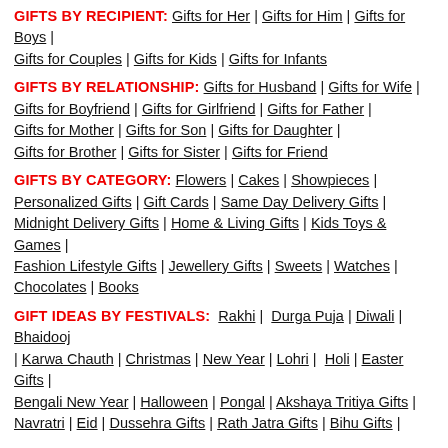GIFTS BY RECIPIENT: Gifts for Her | Gifts for Him | Gifts for Boys | Gifts for Couples | Gifts for Kids | Gifts for Infants
GIFTS BY RELATIONSHIP: Gifts for Husband | Gifts for Wife | Gifts for Boyfriend | Gifts for Girlfriend | Gifts for Father | Gifts for Mother | Gifts for Son | Gifts for Daughter | Gifts for Brother | Gifts for Sister | Gifts for Friend
GIFTS BY CATEGORY: Flowers | Cakes | Showpieces | Personalized Gifts | Gift Cards | Same Day Delivery Gifts | Midnight Delivery Gifts | Home & Living Gifts | Kids Toys & Games | Fashion Lifestyle Gifts | Jewellery Gifts | Sweets | Watches | Chocolates | Books
GIFT IDEAS BY FESTIVALS: Rakhi | Durga Puja | Diwali | Bhaidooj | Karwa Chauth | Christmas | New Year | Lohri | Holi | Easter Gifts | Bengali New Year | Halloween | Pongal | Akshaya Tritiya Gifts | Navratri | Eid | Dussehra Gifts | Rath Jatra Gifts | Bihu Gifts |